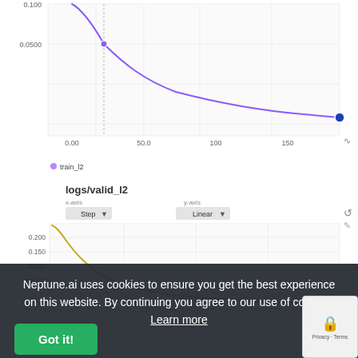[Figure (continuous-plot): Top portion of a training loss (train_l2) curve chart from Neptune.ai. Shows a purple exponentially decaying curve from ~0.100 at step ~25 down to ~0.020 at step ~175. X-axis shows 0.00, 50.0, 100, 150. Y-axis shows 0.0500, 0.100. Legend: train_l2 (purple dot).]
[Figure (continuous-plot): logs/valid_l2 chart from Neptune.ai. Shows a yellow/gold exponentially decaying curve starting near 0.230 at step 0, rapidly falling to ~0.050 by step ~50, then leveling off. X-axis: Step (Linear). Y-axis: Linear. Shows axis labels 0.200, 0.150, 0.100, 0.0500.]
Neptune.ai uses cookies to ensure you get the best experience on this website. By continuing you agree to our use of cookies. Learn more
Got it!
It's very important to log your trained model. Th can quickly move it to production. You can log all models using the `log_artifact`